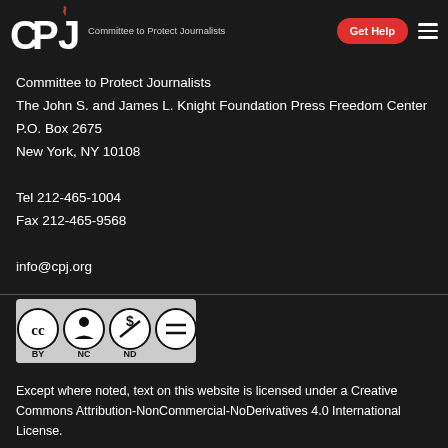CPJ – Committee to Protect Journalists | Get Help
Committee to Protect Journalists
The John S. and James L. Knight Foundation Press Freedom Center
P.O. Box 2675
New York, NY 10108

Tel 212-465-1004
Fax 212-465-9568

info@cpj.org
[Figure (logo): Creative Commons Attribution-NonCommercial-NoDerivatives license badge showing CC BY NC ND icons]
Except where noted, text on this website is licensed under a Creative Commons Attribution-NonCommercial-NoDerivatives 4.0 International License.